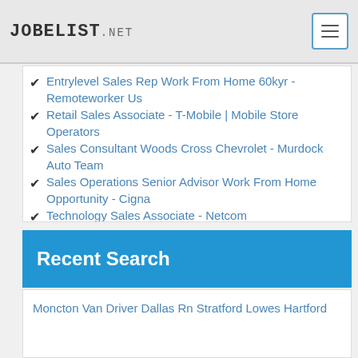JOBELIST.NET
Entrylevel Sales Rep Work From Home 60kyr - Remoteworker Us
Retail Sales Associate - T-Mobile | Mobile Store Operators
Sales Consultant Woods Cross Chevrolet - Murdock Auto Team
Sales Operations Senior Advisor Work From Home Opportunity - Cigna
Technology Sales Associate - Netcom
Sales Executive - ATOZWEBLOGIC Pvt Ltd
Appointment Setter - Northside Concepts
Sales Director East - EagleView
Sales Representative - RevLocal
Sales Representative Dearborn County IN - RevLocal
Recent Search
Moncton Van Driver Dallas Rn Stratford Lowes Hartford